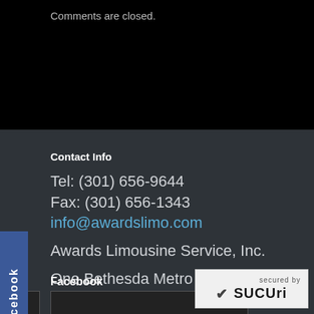Comments are closed.
Contact Info
Tel: (301) 656-9644
Fax: (301) 656-1343
info@awardslimo.com

Awards Limousine Service, Inc.

One Bethesda Metro Center
Bethesda, MD 20814
Facebook
[Figure (screenshot): Sucuri security badge with checkmark and 'secured by Sucuri' text]